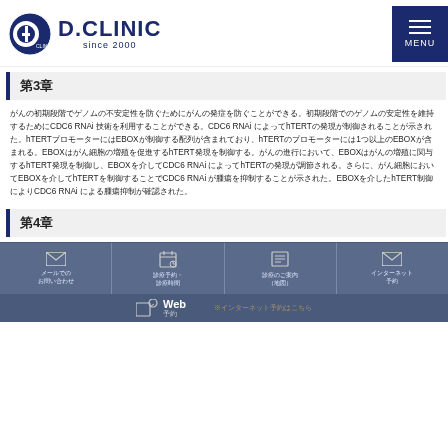D.CLINIC since 2000
第3章
がんの初期段階でゲノムの不安定性を防ぐためにCDC6 RNAi 技術を用いることができる。CDC6 RNAi によってhTERTの発現が制御されることが示された。hTERTプロモーターには1つ以上のEBOXが含まれており、EBOXはがん細胞の増殖を促進するhTERT発現を制御する。がんの進行において、EBOXはCDC6 RNAi によってhTERT発現を調節し、EBOXを介してhTERTを制御することでCDC6 RNAi が腫瘍を抑制することが示された。
第4章
メールでのお問い合わせ | 診療予約・診療時間 | 診療のご案内（地図） | インターネットによる予約・問い合わせ | Web 予約 | ※インターネット予約はこちら